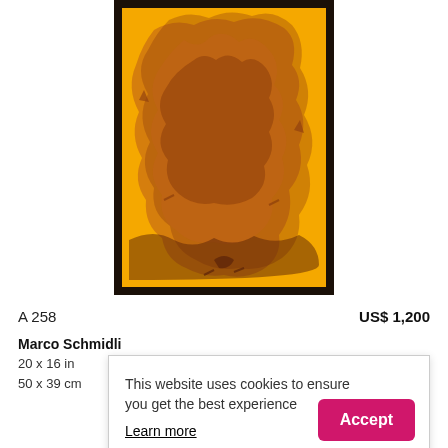[Figure (photo): Artwork showing an abstract/impressionistic image on yellow-orange background with brown/rust colored brushstrokes, framed in dark frame, partially cropped at top]
A 258
US$ 1,200
Marco Schmidli
20 x 16 in
50 x 39 cm
This website uses cookies to ensure you get the best experience
Learn more
Accept